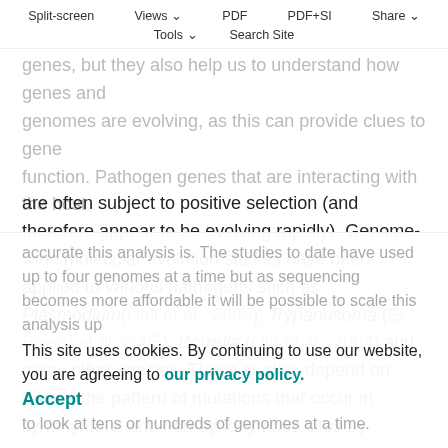Split-screen  Views  PDF  PDF+SI  Share  Tools  Search Site
genes, but they also help us to understand how genes and genomes are evolving, as this can provide clues to gene function. Pathogen genes that are interacting with the host are often subject to positive selection (and therefore appear to be evolving rapidly). Genome-wide molecular evolution studies have been applied to various pathogens such as Plasmodium (Hall et al., 2005), Trypanosoma (El-Sayed et al.,2005), Borrelia (Qiu et al., 2004) and many other species. These studies depend on tracing the pattern of mutations that occur in synonymous and non-synonymous sites by aligning orthologous genes in closely related species. The more genomes that can be aligned, the more accurate this analysis is. The studies to date have used up to four genomes at a time but as sequencing becomes more affordable it will be possible to scale this analysis up to look at tens or hundreds of genomes at a time.
This site uses cookies. By continuing to use our website, you are agreeing to our privacy policy.
Accept